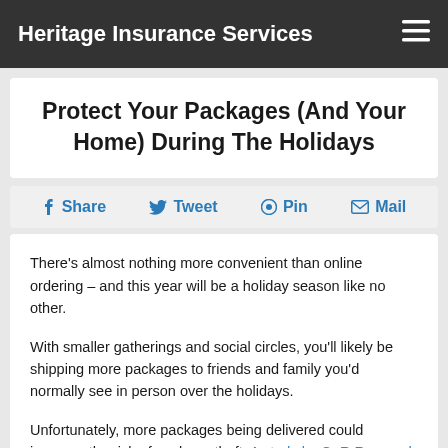Heritage Insurance Services
Protect Your Packages (And Your Home) During The Holidays
Share  Tweet  Pin  Mail
There's almost nothing more convenient than online ordering – and this year will be a holiday season like no other.
With smaller gatherings and social circles, you'll likely be shipping more packages to friends and family you'd normally see in person over the holidays.
Unfortunately, more packages being delivered could increase the risk of package theft. A study by C+R Research estimates that 36% of survey respondents have